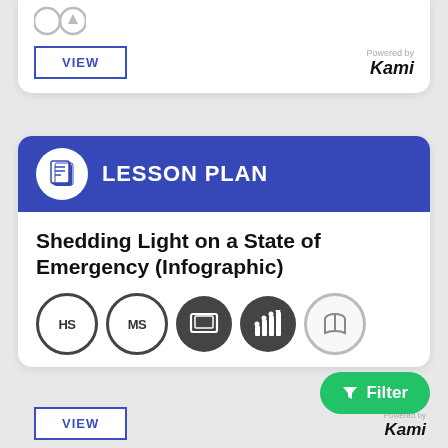[Figure (screenshot): Top card with VIEW button and Powered by Kami branding, partially visible at top]
[Figure (infographic): Lesson Plan card with blue header containing book icon and LESSON PLAN text, title 'Shedding Light on a State of Emergency (Infographic)', row of circular icons (HS, MS, display, chart, book), VIEW button, Filter button, and Powered by Kami branding]